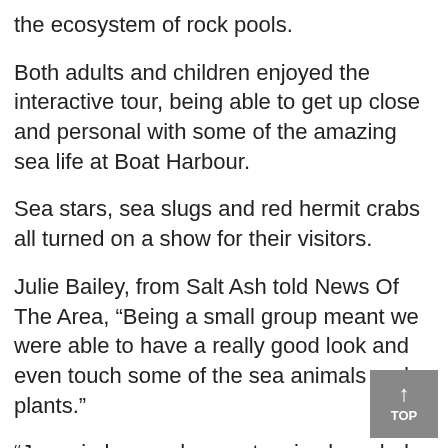the ecosystem of rock pools.
Both adults and children enjoyed the interactive tour, being able to get up close and personal with some of the amazing sea life at Boat Harbour.
Sea stars, sea slugs and red hermit crabs all turned on a show for their visitors.
Julie Bailey, from Salt Ash told News Of The Area, “Being a small group meant we were able to have a really good look and even touch some of the sea animals and plants.”
“Jeannie has such an extensive knowledge of the area that we all walked away not just with a sense of wonderment but also feeling like we learnt something,” she said.